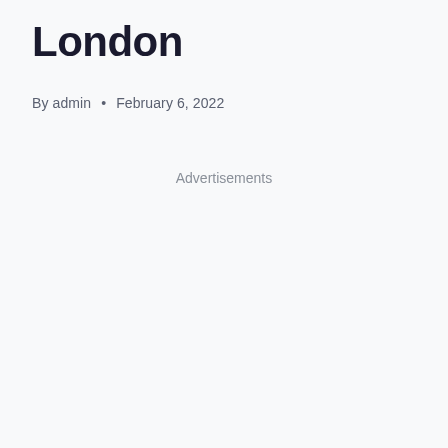London
By admin • February 6, 2022
Advertisements